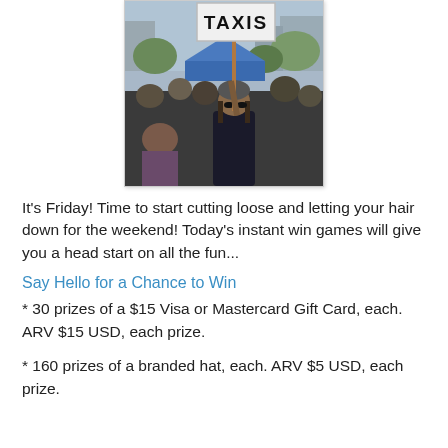[Figure (photo): Person holding a sign that reads 'TAXIS' in a crowd at an outdoor event]
It's Friday! Time to start cutting loose and letting your hair down for the weekend! Today's instant win games will give you a head start on all the fun...
Say Hello for a Chance to Win
* 30 prizes of a $15 Visa or Mastercard Gift Card, each. ARV $15 USD, each prize.
* 160 prizes of a branded hat, each. ARV $5 USD, each prize.